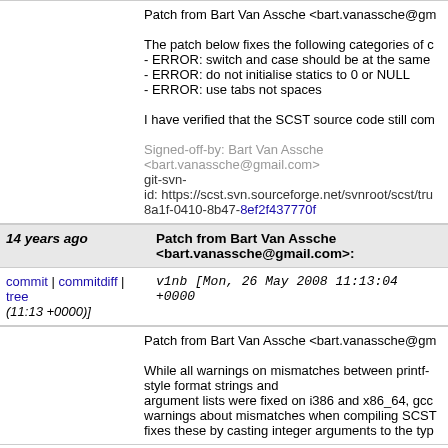Patch from Bart Van Assche <bart.vanassche@g...
The patch below fixes the following categories of c...
- ERROR: switch and case should be at the same...
- ERROR: do not initialise statics to 0 or NULL
- ERROR: use tabs not spaces
I have verified that the SCST source code still co...
Signed-off-by: Bart Van Assche <bart.vanassche@gmail.com>
git-svn-id: https://scst.svn.sourceforge.net/svnroot/scst/tru...
8a1f-0410-8b47-8ef2f437770f
14 years ago
Patch from Bart Van Assche <bart.vanassche@gmail.com>:
commit | commitdiff | tree
v1nb [Mon, 26 May 2008 11:13:04 +0000 (11:13 +0000)]
Patch from Bart Van Assche <bart.vanassche@g...
While all warnings on mismatches between printf-style format strings and argument lists were fixed on i386 and x86_64, gcc warnings about mismatches when compiling SCST... fixes these by casting integer arguments to the typ...